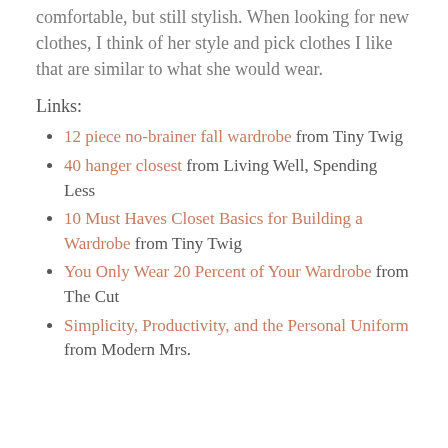comfortable, but still stylish. When looking for new clothes, I think of her style and pick clothes I like that are similar to what she would wear.
Links:
12 piece no-brainer fall wardrobe from Tiny Twig
40 hanger closest from Living Well, Spending Less
10 Must Haves Closet Basics for Building a Wardrobe from Tiny Twig
You Only Wear 20 Percent of Your Wardrobe from The Cut
Simplicity, Productivity, and the Personal Uniform from Modern Mrs.